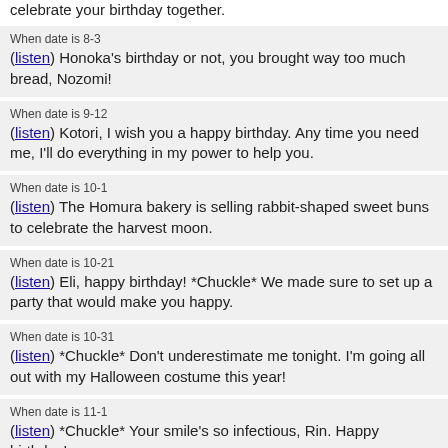celebrate your birthday together.
When date is 8-3
(listen) Honoka's birthday or not, you brought way too much bread, Nozomi!
When date is 9-12
(listen) Kotori, I wish you a happy birthday. Any time you need me, I'll do everything in my power to help you.
When date is 10-1
(listen) The Homura bakery is selling rabbit-shaped sweet buns to celebrate the harvest moon.
When date is 10-21
(listen) Eli, happy birthday! *Chuckle* We made sure to set up a party that would make you happy.
When date is 10-31
(listen) *Chuckle* Don't underestimate me tonight. I'm going all out with my Halloween costume this year!
When date is 11-1
(listen) *Chuckle* Your smile's so infectious, Rin. Happy birthday!